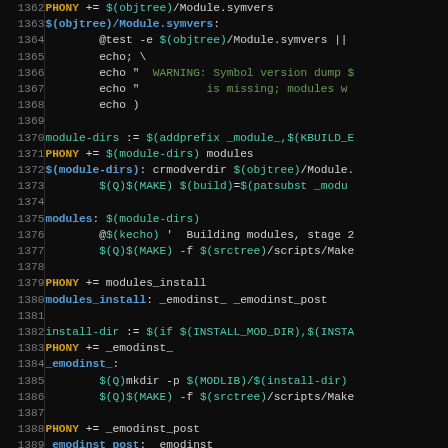[Figure (screenshot): Source code screenshot showing a Makefile snippet with line numbers 1362-1391. Dark background with syntax highlighting. Lines show make targets and rules for building Linux kernel modules including PHONY targets, module-dirs, modules, modules_install, _emodinst_, and _emodinst_post rules.]